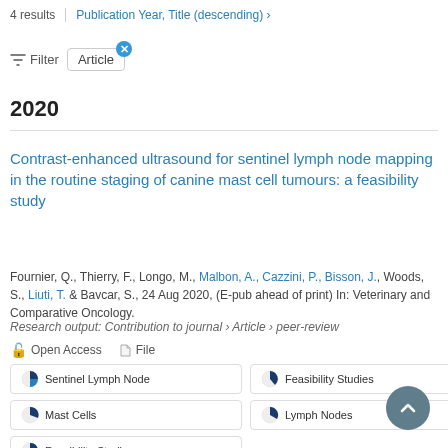4 results   |   Publication Year, Title (descending) ›
Filter   Article ×
2020
Contrast-enhanced ultrasound for sentinel lymph node mapping in the routine staging of canine mast cell tumours: a feasibility study
Fournier, Q., Thierry, F., Longo, M., Malbon, A., Cazzini, P., Bisson, J., Woods, S., Liuti, T. & Bavcar, S., 24 Aug 2020, (E-pub ahead of print) In: Veterinary and Comparative Oncology.
Research output: Contribution to journal › Article › peer-review
Open Access   File
Sentinel Lymph Node
Feasibility Studies
Mast Cells
Lymph Nodes
Feasibility Studies